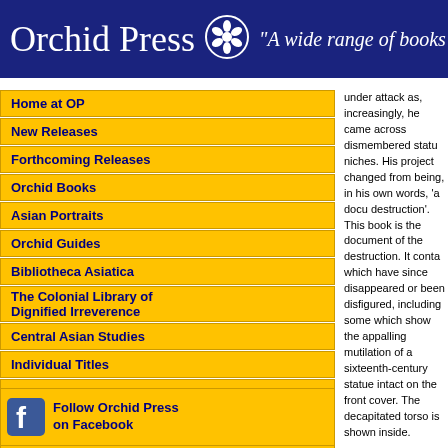Orchid Press — A wide range of books
Home at OP
New Releases
Forthcoming Releases
Orchid Books
Asian Portraits
Orchid Guides
Bibliotheca Asiatica
The Colonial Library of Dignified Irreverence
Central Asian Studies
Individual Titles
Bibliotheca Himalayica
Books in Thai, Burmese and other languages
Book Reviews
How to Buy
Search
Contact Us
Links
Follow Orchid Press on Facebook
under attack as, increasingly, he came across dismembered statues and empty niches. His project changed from being, in his own words, 'a documentation to a destruction'. This book is the document of the destruction. It contains photographs which have since disappeared or been disfigured, including some remarkable ones which show the appalling mutilation of a sixteenth-century statue which was shown intact on the front cover. The decapitated torso is shown inside.

Schick suggests that by 1970 almost all of Nepal's bronzes had been stolen, but that the stone sculpture was still relatively intact. Its removal started in 1984, and now not a temple survives in the Kathmandu Valley untouched. Thieves were often armed and at Svayambhunath a priest was killed when he resisted. The despoliation seems now to be in decline, perhaps because, as the author says, little to steal. What little does is often obscured by iron grilles or secured by chains, not always effective—the sixth-century Ekmukha Shivalingam of Pashupatinath has a drum; unable to remove it the thieves broke off its nose.

The international dimension is emphasized again and again. Chief markets are in public or private collections in, the west but there is another telling detail. The material is well-organized . The first, German, edition of this book was such that the office of its Bangkok publisher was broken into and 80 of the original photographs must have had somebody worried.

As a result of this book, and also of Lain S. Bangdel's Stolen Images, things are set to return. In 1999 a Los Angeles-based private collector returned the stolen head of the Sarasvati statue featured on the front cover of the book. He remained anonymous, out of shame perhaps for taking part, however remote.

The Gods are Leaving the Country provides a visual commenta...